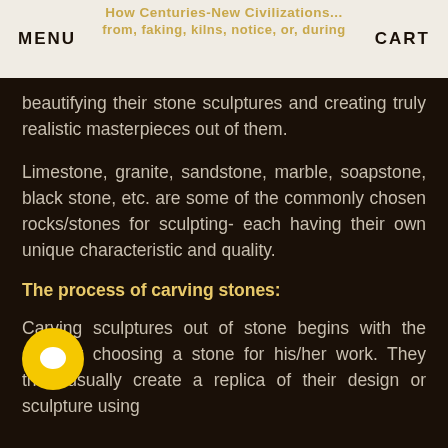How Centuries-New Civilizations… MENU | CART
beautifying their stone sculptures and creating truly realistic masterpieces out of them.
Limestone, granite, sandstone, marble, soapstone, black stone, etc. are some of the commonly chosen rocks/stones for sculpting- each having their own unique characteristic and quality.
The process of carving stones:
Carving sculptures out of stone begins with the sculptor choosing a stone for his/her work. They then usually create a replica of their design or sculpture using